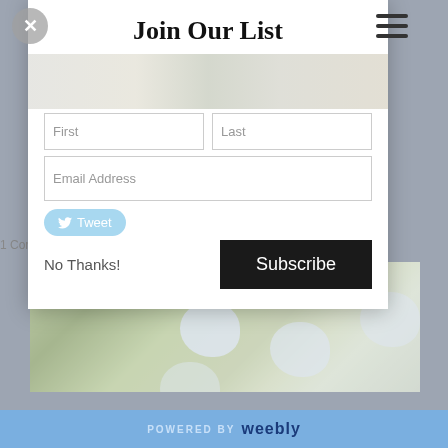Join Our List
[Figure (screenshot): Email subscription modal dialog with First/Last name fields, Email Address field, Tweet button, No Thanks link, and Subscribe button. Background shows a dimmed webpage. Bottom has a blue Powered by Weebly bar. Lower portion shows a flower/plant photo.]
POWERED BY weebly